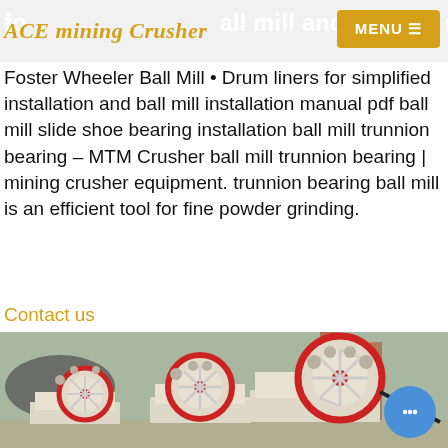fo ACE mining Crusher all mill and bearing m  MENU
Foster Wheeler Ball Mill • Drum liners for simplified installation and ball mill installation manual pdf ball mill slide shoe bearing installation ball mill trunnion bearing – MTM Crusher ball mill trunnion bearing | mining crusher equipment. trunnion bearing ball mill is an efficient tool for fine powder grinding.
Contact us
[Figure (photo): Three industrial jaw crusher machines with large red and white flywheels, arranged in a row outdoors near a construction/industrial site with cranes and equipment visible in background.]